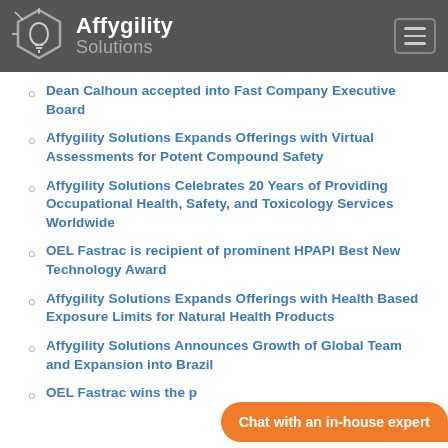Affygility Solutions
Dean Calhoun accepted into Fast Company Executive Board
Affygility Solutions Expands Offerings with Virtual Assessments for Potent Compound Safety
Affygility Solutions Celebrates 20 Years of Providing Occupational Health, Safety, and Toxicology Services Worldwide
OEL Fastrac is recipient of prominent HPAPI Best New Technology Award
Affygility Solutions Expands Offerings with Health Based Exposure Limits for Natural Health Products
Affygility Solutions Announces Growth of Global Team and Expansion into Brazil
OEL Fastrac wins the p...
Chat with an in-house expert